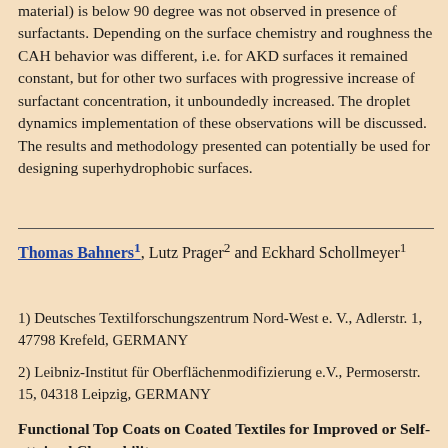material) is below 90 degree was not observed in presence of surfactants. Depending on the surface chemistry and roughness the CAH behavior was different, i.e. for AKD surfaces it remained constant, but for other two surfaces with progressive increase of surfactant concentration, it unboundedly increased. The droplet dynamics implementation of these observations will be discussed. The results and methodology presented can potentially be used for designing superhydrophobic surfaces.
Thomas Bahners1, Lutz Prager2 and Eckhard Schollmeyer1
1) Deutsches Textilforschungszentrum Nord-West e. V., Adlerstr. 1, 47798 Krefeld, GERMANY
2) Leibniz-Institut für Oberflächenmodifizierung e.V., Permoserstr. 15, 04318 Leipzig, GERMANY
Functional Top Coats on Coated Textiles for Improved or Self-attained Cleanability